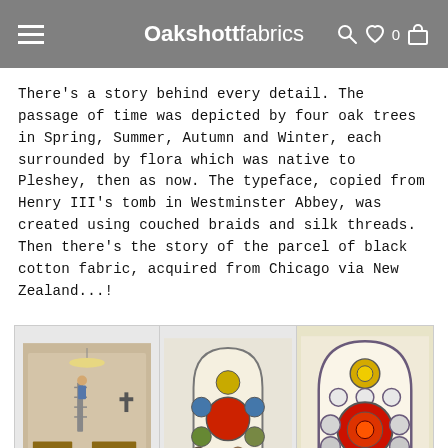Oakshottfabrics
There's a story behind every detail. The passage of time was depicted by four oak trees in Spring, Summer, Autumn and Winter, each surrounded by flora which was native to Pleshey, then as now. The typeface, copied from Henry III's tomb in Westminster Abbey, was created using couched braids and silk threads. Then there's the story of the parcel of black cotton fabric, acquired from Chicago via New Zealand...!
[Figure (photo): Three photos in a row: left shows people on ladders inside a church installing a large artwork; center shows two people standing in front of a large gothic arch-shaped embroidered panel with circular medallions; right shows a close-up of the finished gothic arch-shaped panel with colorful circular embroidered medallions on cream background.]